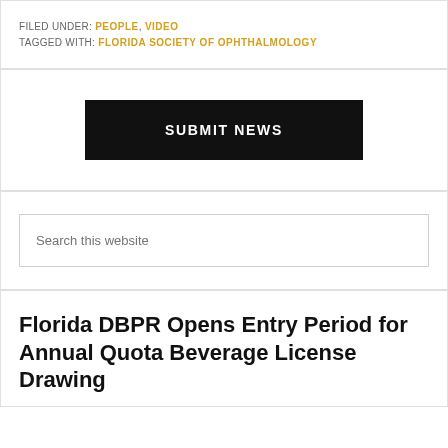FILED UNDER: PEOPLE, VIDEO
TAGGED WITH: FLORIDA SOCIETY OF OPHTHALMOLOGY
[Figure (other): Black button with white text reading SUBMIT NEWS]
Search this website
Florida DBPR Opens Entry Period for Annual Quota Beverage License Drawing